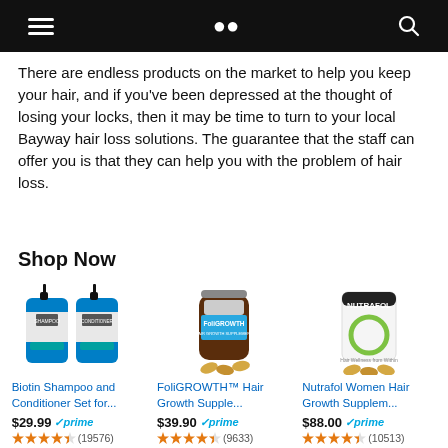[hamburger menu] [search icon]
There are endless products on the market to help you keep your hair, and if you've been depressed at the thought of losing your locks, then it may be time to turn to your local Bayway hair loss solutions. The guarantee that the staff can offer you is that they can help you with the problem of hair loss.
Shop Now
[Figure (photo): Biotin Shampoo and Conditioner Set bottles (blue bottles with pump dispensers)]
Biotin Shampoo and Conditioner Set for...
$29.99 ✓prime
★★★★☆ (19576)
[Figure (photo): FoliGROWTH Hair Growth Supplement brown bottle with capsules]
FoliGROWTH™ Hair Growth Supple...
$39.90 ✓prime
★★★★☆ (9633)
[Figure (photo): Nutrafol Women Hair Growth Supplement white bottle with capsules]
Nutrafol Women Hair Growth Supplem...
$88.00 ✓prime
★★★★☆ (10513)